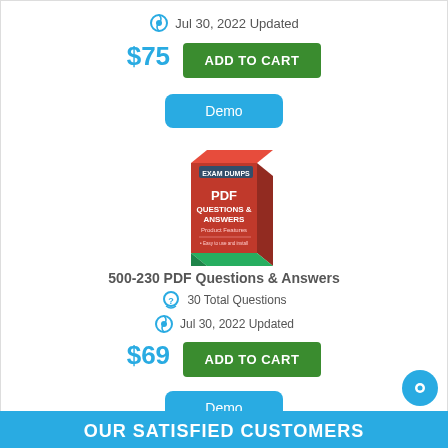Jul 30, 2022 Updated
$75
ADD TO CART
Demo
[Figure (illustration): 3D box product image with red cover labeled PDF Questions & Answers]
500-230 PDF Questions & Answers
30 Total Questions
Jul 30, 2022 Updated
$69
ADD TO CART
Demo
OUR SATISFIED CUSTOMERS